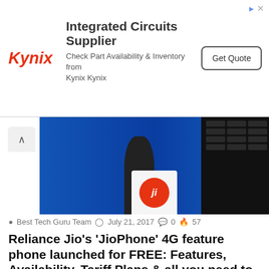[Figure (infographic): Kynix Integrated Circuits Supplier advertisement banner with logo, text, and Get Quote button]
[Figure (photo): Hero image showing a person at a podium with Jio logo and a feature phone on a blue background]
Best Tech Guru Team  July 21, 2017  0  57
Reliance Jio's 'JioPhone' 4G feature phone launched for FREE: Features, Availability, Tariff Plans & all you need to know
Reliance Jio, as it was expected, launched its much-anticipated 4G feature phone called as 'JioPhone' at the Reliance AGM 2017....
Read More »